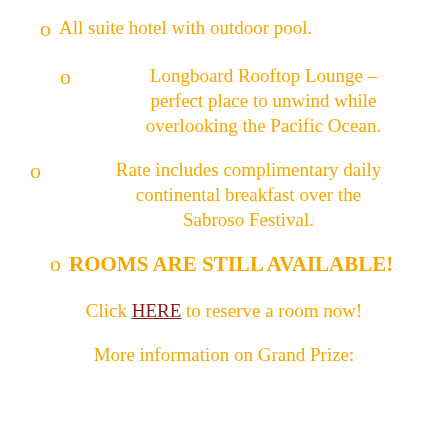All suite hotel with outdoor pool.
Longboard Rooftop Lounge – perfect place to unwind while overlooking the Pacific Ocean.
Rate includes complimentary daily continental breakfast over the Sabroso Festival.
ROOMS ARE STILL AVAILABLE!
Click HERE to reserve a room now!
More information on Grand Prize: